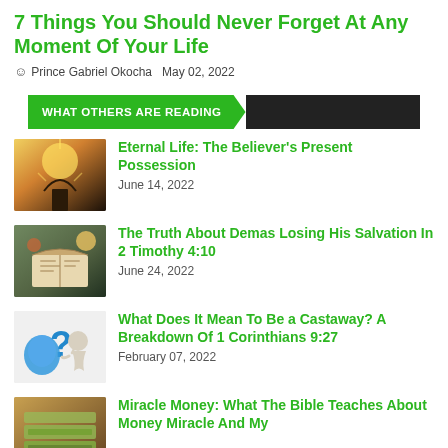7 Things You Should Never Forget At Any Moment Of Your Life
Prince Gabriel Okocha  May 02, 2022
WHAT OTHERS ARE READING
[Figure (photo): Person with arms raised against bright sunlight]
Eternal Life: The Believer's Present Possession
June 14, 2022
[Figure (photo): Open Bible with flowers and starfish on a wooden surface]
The Truth About Demas Losing His Salvation In 2 Timothy 4:10
June 24, 2022
[Figure (illustration): 3D figure sitting with a question mark]
What Does It Mean To Be a Castaway? A Breakdown Of 1 Corinthians 9:27
February 07, 2022
[Figure (photo): Hands counting money]
Miracle Money: What The Bible Teaches About Money Miracle And My